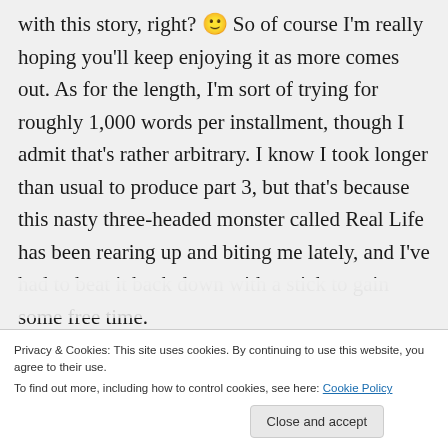with this story, right? 🙂 So of course I'm really hoping you'll keep enjoying it as more comes out. As for the length, I'm sort of trying for roughly 1,000 words per installment, though I admit that's rather arbitrary. I know I took longer than usual to produce part 3, but that's because this nasty three-headed monster called Real Life has been rearing up and biting me lately, and I've had to beat it back down with a stick to gain some free time.
Privacy & Cookies: This site uses cookies. By continuing to use this website, you agree to their use.
To find out more, including how to control cookies, see here: Cookie Policy